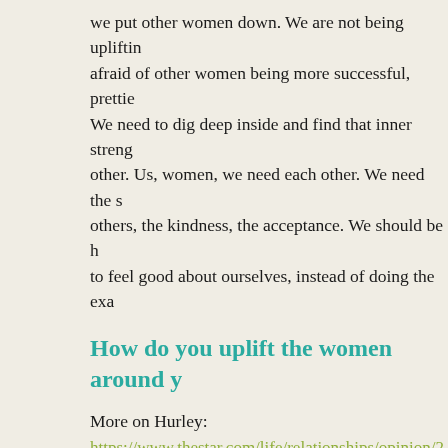we put other women down. We are not being uplifting. We are afraid of other women being more successful, prettier than us. We need to dig deep inside and find that inner strength for each other. Us, women, we need each other. We need the support of others, the kindness, the acceptance. We should be helping others to feel good about ourselves, instead of doing the exact opposite.
How do you uplift the women around you?
More on Hurley:
https://www.thestar.com/life/relationships/opinion/2 girls-are-getting-meaner-younger.html
← My daughter thinks another girl is pretty: Part 1
My daughter thinks another girl is